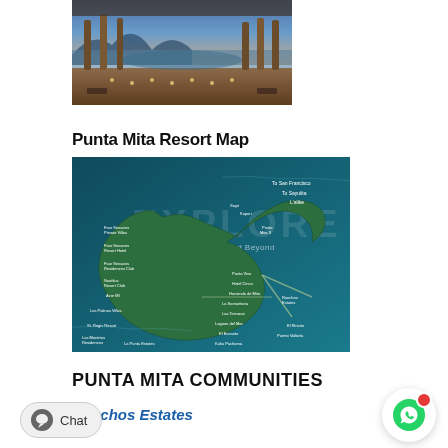[Figure (photo): Resort terrace/pool photo showing an elegant open-air pavilion with columns, a pool, and ocean view at twilight.]
Punta Mita Resort Map
[Figure (map): Aerial map of the Punta Mita peninsula labeled 'EXPLORE – The Punta Mita Resort and Beyond', showing locations of Four Seasons Private Villas, Four Seasons Resort Hotel, Four Seasons Residences Club, St. Regis Resort, Las Marietas Residences, La Punta Estates, Punta Viva, Hotel Cinco, Hacienda de Mita, La Samaritana, Las Terrazas, Lagoon del Mar, El Encanto, Kuku Pachama, El Rincón, Puerto Vallarta, to San Francisco, to Sayulita, L'Alike, Sayri, Kupuri, and others.]
PUNTA MITA COMMUNITIES
Ranchos Estates